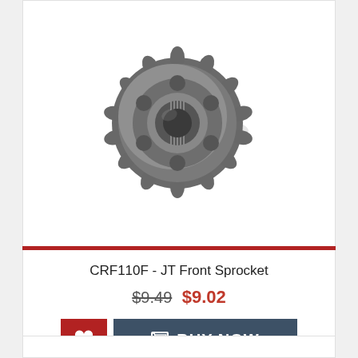[Figure (photo): A metal front sprocket (gear) for CRF110F motorcycle, steel colored, top-down view showing teeth and center spline hole]
CRF110F - JT Front Sprocket
$9.49  $9.02
[Figure (other): Two buttons: a red heart/wishlist button and a dark blue-gray BUY NOW button with shopping cart icon]